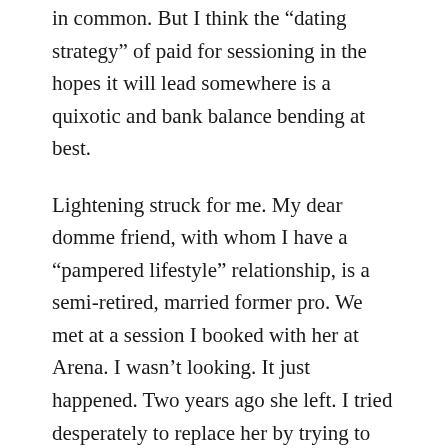in common. But I think the “dating strategy” of paid for sessioning in the hopes it will lead somewhere is a quixotic and bank balance bending at best.
Lightening struck for me. My dear domme friend, with whom I have a “pampered lifestyle” relationship, is a semi-retired, married former pro. We met at a session I booked with her at Arena. I wasn’t looking. It just happened. Two years ago she left. I tried desperately to replace her by trying to replicate with prodommes what I had found with her. The results over almost two years ranged from disappointing to near disasterous.